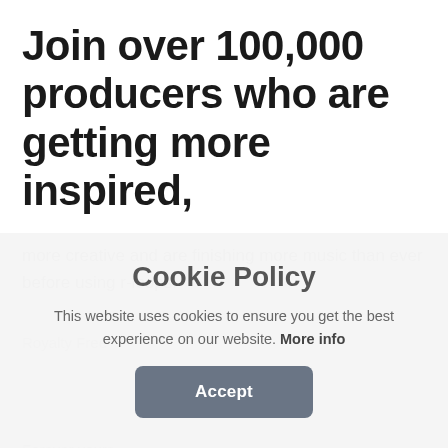Join over 100,000 producers who are getting more inspired,
more creative and are finishing more music than ever before using r-loops!
Royalty Free
Forever yours
Cookie Policy
This website uses cookies to ensure you get the best experience on our website. More info
Accept